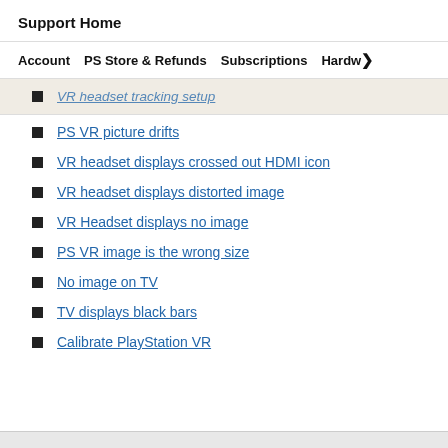Support Home
Account   PS Store & Refunds   Subscriptions   Hardw>
VR headset tracking setup (partial, clipped)
PS VR picture drifts
VR headset displays crossed out HDMI icon
VR headset displays distorted image
VR Headset displays no image
PS VR image is the wrong size
No image on TV
TV displays black bars
Calibrate PlayStation VR